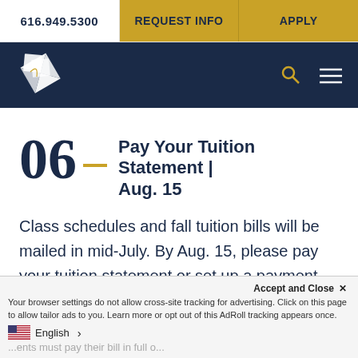616.949.5300 | REQUEST INFO | APPLY
[Figure (logo): University logo: white diamond/square icon with leaf on dark navy background, with search and menu icons on right]
06 — Pay Your Tuition Statement | Aug. 15
Class schedules and fall tuition bills will be mailed in mid-July. By Aug. 15, please pay your tuition statement or set up a payment plan.
Accept and Close ×
Your browser settings do not allow cross-site tracking for advertising. Click on this page to allow tailor ads to you. Learn more or opt out of this AdRoll tracking appears once.
English >
...ents must pay their bill in full o...